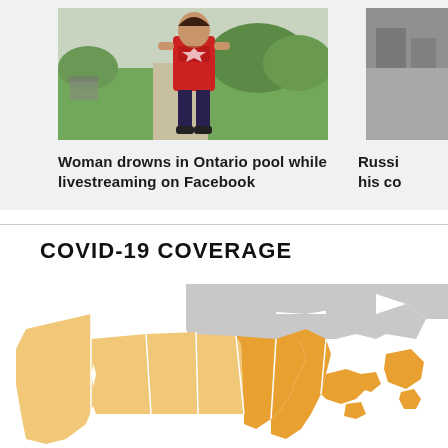[Figure (photo): Person in red Canada t-shirt standing outdoors on a walkway with green grass and patio furniture in background]
Woman drowns in Ontario pool while livestreaming on Facebook
[Figure (photo): Partial view of another news story image (gray/indoor scene)]
Russi... his co...
COVID-19 COVERAGE
[Figure (map): Map of Canada showing provinces colored in light orange/tan and darker orange, with some provinces in gray, indicating COVID-19 coverage by region]